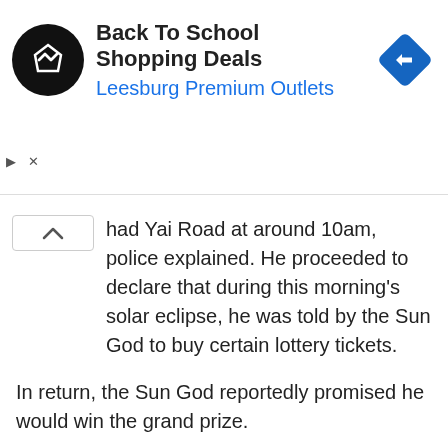[Figure (screenshot): Advertisement banner for Back To School Shopping Deals at Leesburg Premium Outlets, with a black circular logo with double arrow symbol and a blue diamond navigation icon on the right.]
had Yai Road at around 10am, police explained. He proceeded to declare that during this morning's solar eclipse, he was told by the Sun God to buy certain lottery tickets.
In return, the Sun God reportedly promised he would win the grand prize.
Read: Solar Eclipse Reminds Bangkok There is a Sky (Photos)
However, the lottery stall vendor was away at the time, so the shop owner informed the self-proclaimed divine messenger to wait a moment. At that point the man tried to help himself to the tickets anyway, Lt. Cpt. Sonthaya Lookkliang of Phuket